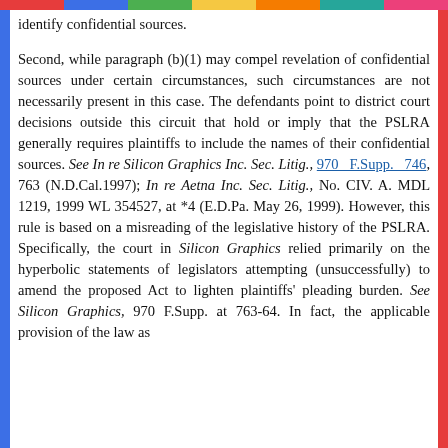identify confidential sources.
Second, while paragraph (b)(1) may compel revelation of confidential sources under certain circumstances, such circumstances are not necessarily present in this case. The defendants point to district court decisions outside this circuit that hold or imply that the PSLRA generally requires plaintiffs to include the names of their confidential sources. See In re Silicon Graphics Inc. Sec. Litig., 970 F.Supp. 746, 763 (N.D.Cal.1997); In re Aetna Inc. Sec. Litig., No. CIV. A. MDL 1219, 1999 WL 354527, at *4 (E.D.Pa. May 26, 1999). However, this rule is based on a misreading of the legislative history of the PSLRA. Specifically, the court in Silicon Graphics relied primarily on the hyperbolic statements of legislators attempting (unsuccessfully) to amend the proposed Act to lighten plaintiffs' pleading burden. See Silicon Graphics, 970 F.Supp. at 763-64. In fact, the applicable provision of the law as